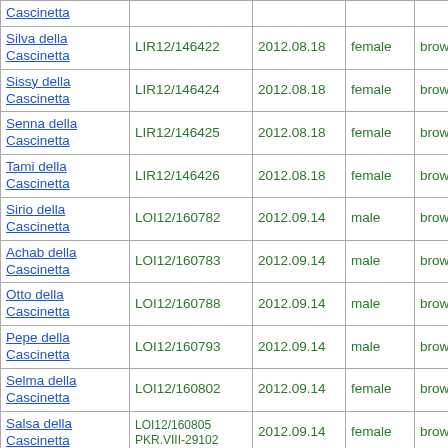| Name | Registration | Date | Sex | Color | Grade | Extra |  |
| --- | --- | --- | --- | --- | --- | --- | --- |
| Cascinetta |  |  |  |  |  |  |  |
| Silva della Cascinetta | LIR12/146422 | 2012.08.18 | female | brownroan | B |  |  |
| Sissy della Cascinetta | LIR12/146424 | 2012.08.18 | female | brownroan | A | +- |  |
| Senna della Cascinetta | LIR12/146425 | 2012.08.18 | female | brownroan | A | +- |  |
| Tami della Cascinetta | LIR12/146426 | 2012.08.18 | female | brownroan |  |  |  |
| Sirio della Cascinetta | LOI12/160782 | 2012.09.14 | male | brownroan |  |  |  |
| Achab della Cascinetta | LOI12/160783 | 2012.09.14 | male | brownroan |  |  |  |
| Otto della Cascinetta | LOI12/160788 | 2012.09.14 | male | brownroan |  |  |  |
| Pepe della Cascinetta | LOI12/160793 | 2012.09.14 | male | brownroan |  |  |  |
| Selma della Cascinetta | LOI12/160802 | 2012.09.14 | female | brownroan |  |  |  |
| Salsa della Cascinetta | LOI12/160805 PKR.VIII-29102 | 2012.09.14 | female | brownroan | A | -- |  |